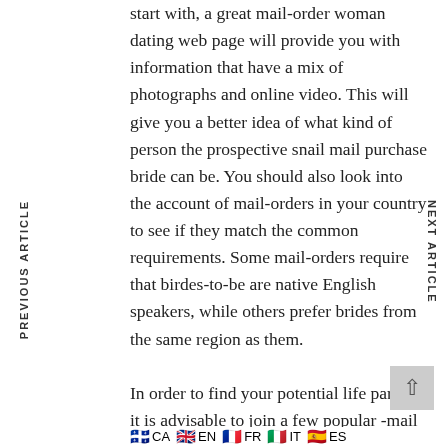start with, a great mail-order woman dating web page will provide you with information that have a mix of photographs and online video. This will give you a better idea of what kind of person the prospective snail mail purchase bride can be. You should also look into the account of mail-orders in your country to see if they match the common requirements. Some mail-orders require that birdes-to-be are native English speakers, while others prefer brides from the same region as them.

In order to find your potential life partner, it is advisable to join a few popular -mail order bride online dating sites. Such sites can make complements with a huge selection of eligible
PREVIOUS ARTICLE
NEXT ARTICLE